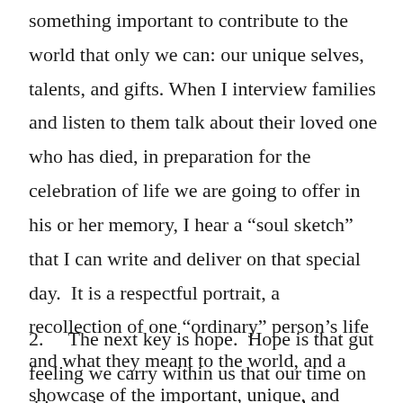something important to contribute to the world that only we can: our unique selves, talents, and gifts. When I interview families and listen to them talk about their loved one who has died, in preparation for the celebration of life we are going to offer in his or her memory, I hear a “soul sketch” that I can write and deliver on that special day.  It is a respectful portrait, a recollection of one “ordinary” person’s life and what they meant to the world, and a showcase of the important, unique, and lasting legacy of love they left for those who survive them.
2.    The next key is hope.  Hope is that gut feeling we carry within us that our time on this earth matters; that our core as human beings derives from an irrational